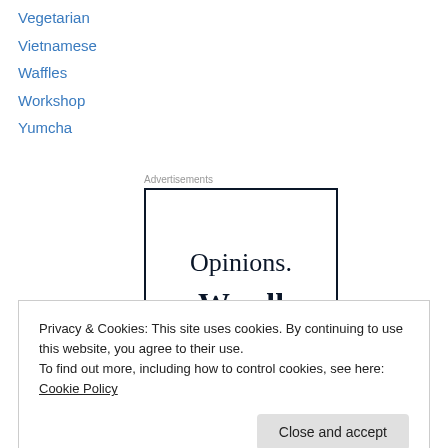Vegetarian
Vietnamese
Waffles
Workshop
Yumcha
Advertisements
[Figure (other): Advertisement box with text 'Opinions. We all']
Privacy & Cookies: This site uses cookies. By continuing to use this website, you agree to their use.
To find out more, including how to control cookies, see here: Cookie Policy
Close and accept